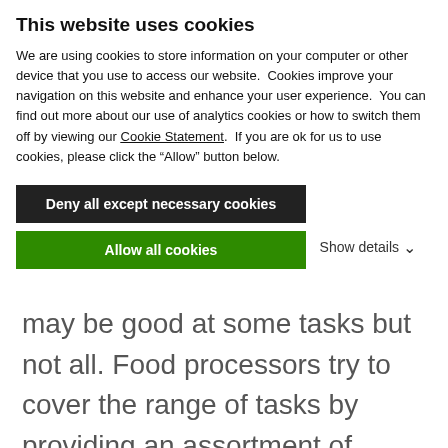This website uses cookies
We are using cookies to store information on your computer or other device that you use to access our website.  Cookies improve your navigation on this website and enhance your user experience.  You can find out more about our use of analytics cookies or how to switch them off by viewing our Cookie Statement.  If you are ok for us to use cookies, please click the “Allow” button below.
Deny all except necessary cookies
Allow all cookies
Show details
may be good at some tasks but not all. Food processors try to cover the range of tasks by providing an assortment of attachments and containers, but for the busy back-of-house chef, these various accessories may be a lot to keep track of and store.